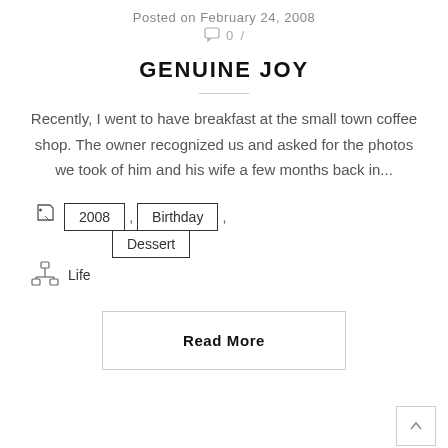Posted on February 24, 2008
0 /
GENUINE JOY
Recently, I went to have breakfast at the small town coffee shop. The owner recognized us and asked for the photos we took of him and his wife a few months back in...
2008 , Birthday , Dessert
Life
Read More